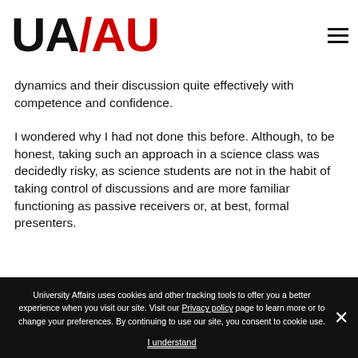UA/AU logo and navigation
dynamics and their discussion quite effectively with competence and confidence.
I wondered why I had not done this before. Although, to be honest, taking such an approach in a science class was decidedly risky, as science students are not in the habit of taking control of discussions and are more familiar functioning as passive receivers or, at best, formal presenters.
University Affairs uses cookies and other tracking tools to offer you a better experience when you visit our site. Visit our Privacy policy page to learn more or to change your preferences. By continuing to use our site, you consent to cookie use. I understand